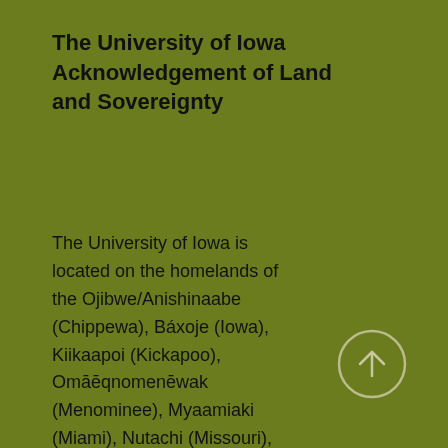The University of Iowa Acknowledgement of Land and Sovereignty
The University of Iowa is located on the homelands of the Ojibwe/Anishinaabe (Chippewa), Báxoje (Iowa), Kiikaapoi (Kickapoo), Omāēqnomenēwak (Menominee), Myaamiaki (Miami), Nutachi (Missouri), Umoⁿhoⁿ (Omaha), Wahzhazhe (Osage), Jiwere (Otoe), Odawaa (Ottawa), Póⁿka (Ponca), Bodéwadmi/Neshnabé